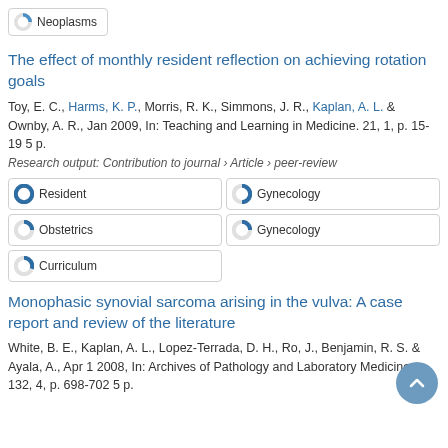Neoplasms
The effect of monthly resident reflection on achieving rotation goals
Toy, E. C., Harms, K. P., Morris, R. K., Simmons, J. R., Kaplan, A. L. & Ownby, A. R., Jan 2009, In: Teaching and Learning in Medicine. 21, 1, p. 15-19 5 p.
Research output: Contribution to journal › Article › peer-review
Resident
Gynecology
Obstetrics
Gynecology
Curriculum
Monophasic synovial sarcoma arising in the vulva: A case report and review of the literature
White, B. E., Kaplan, A. L., Lopez-Terrada, D. H., Ro, J., Benjamin, R. S. & Ayala, A., Apr 1 2008, In: Archives of Pathology and Laboratory Medicine. 132, 4, p. 698-702 5 p.